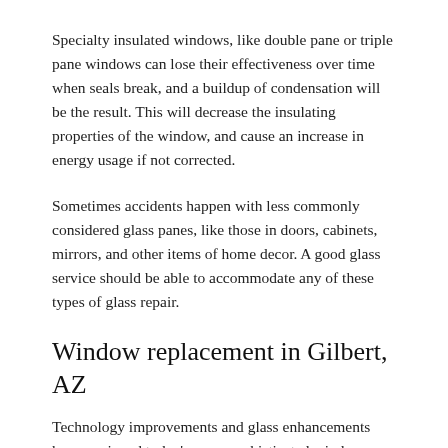Specialty insulated windows, like double pane or triple pane windows can lose their effectiveness over time when seals break, and a buildup of condensation will be the result. This will decrease the insulating properties of the window, and cause an increase in energy usage if not corrected.
Sometimes accidents happen with less commonly considered glass panes, like those in doors, cabinets, mirrors, and other items of home decor. A good glass service should be able to accommodate any of these types of glass repair.
Window replacement in Gilbert, AZ
Technology improvements and glass enhancements have equipped today's more sophisticated windows like